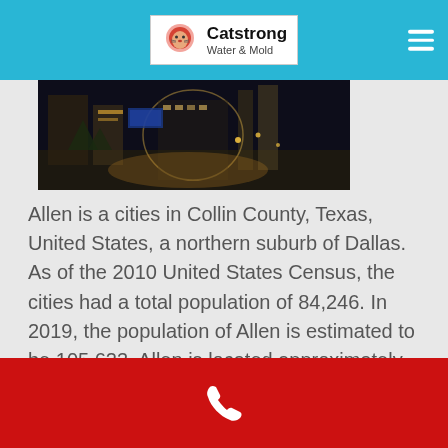Catstrong Water & Mold
[Figure (photo): Night-time cityscape photo of Allen, TX downtown area with illuminated buildings]
Allen is a cities in Collin County, Texas, United States, a northern suburb of Dallas. As of the 2010 United States Census, the cities had a total population of 84,246. In 2019, the population of Allen is estimated to be 105,623. Allen is located approximately twenty miles (32.2 km) north of downtown Dallas and is a part of the Dallas-Fort Worth metropolitan area. Allen
[Figure (map): Partial map with grid overlay showing Allen, TX area]
Call us (phone icon)